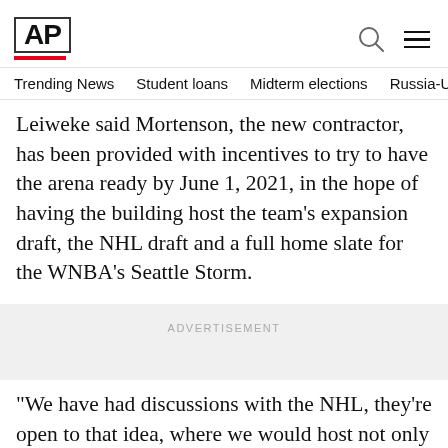AP
Trending News  Student loans  Midterm elections  Russia-Uk
Leiweke said Mortenson, the new contractor, has been provided with incentives to try to have the arena ready by June 1, 2021, in the hope of having the building host the team’s expansion draft, the NHL draft and a full home slate for the WNBA’s Seattle Storm.
ADVERTISEMENT
“We have had discussions with the NHL, they’re open to that idea, where we would host not only the expansion draft in the building but the full league draft.” Leiweke